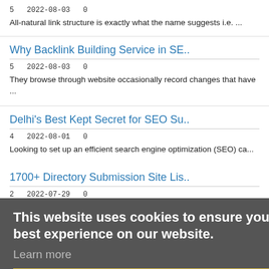5  2022-08-03  0
All-natural link structure is exactly what the name suggests i.e. …
Why Backlink Building Service in SE..
5  2022-08-03  0
They browse through website occasionally record changes that have …
Delhi's Best Kept Secret for SEO Su..
4  2022-08-01  0
Looking to set up an efficient search engine optimization (SEO) ca...
1700+ Directory Submission Site Lis..
2  2022-07-29  0
High DA PA Directory Submission Website Lists provides best techni...
This website uses cookies to ensure you get the best experience on our website.
Learn more
Got it!